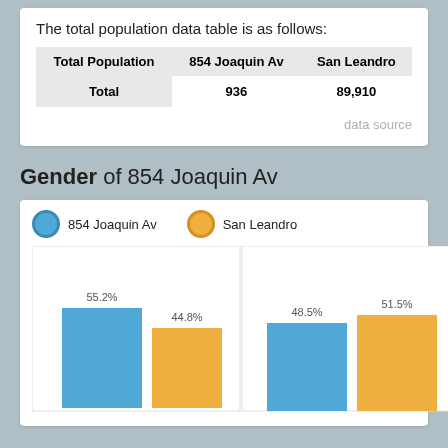The total population data table is as follows:
| Total Population | 854 Joaquin Av | San Leandro |
| --- | --- | --- |
| Total | 936 | 89,910 |
data source
Gender of 854 Joaquin Av
[Figure (grouped-bar-chart): Gender of 854 Joaquin Av]